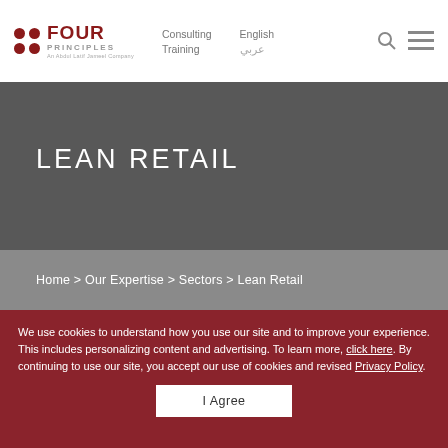[Figure (logo): Four Principles logo - dark red circles in 2x2 grid with text FOUR PRINCIPLES, An Abdul Latif Jameel Company]
Consulting  Training  English  عربي
LEAN RETAIL
Home > Our Expertise > Sectors > Lean Retail
We use cookies to understand how you use our site and to improve your experience. This includes personalizing content and advertising. To learn more, click here. By continuing to use our site, you accept our use of cookies and revised Privacy Policy.
I Agree